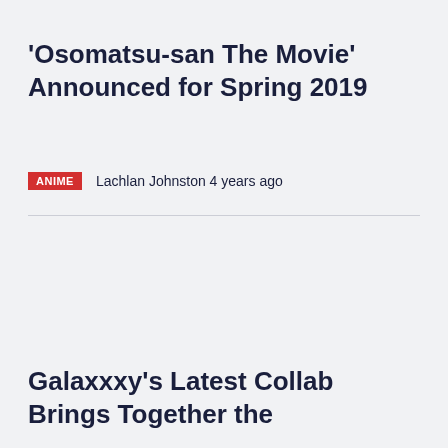‘Osomatsu-san The Movie’ Announced for Spring 2019
ANIME   Lachlan Johnston 4 years ago
Galaxxxy’s Latest Collab Brings Together the